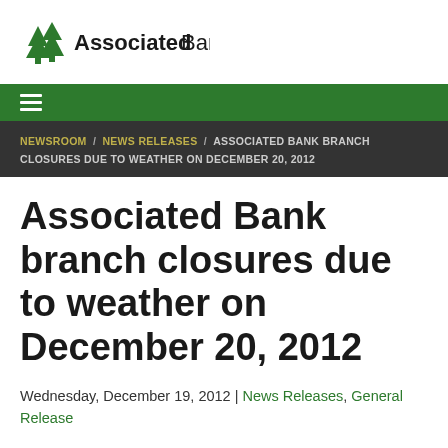[Figure (logo): Associated Bank logo with green tree icon and text 'Associated Bank']
☰
NEWSROOM / NEWS RELEASES / ASSOCIATED BANK BRANCH CLOSURES DUE TO WEATHER ON DECEMBER 20, 2012
Associated Bank branch closures due to weather on December 20, 2012
Wednesday, December 19, 2012 | News Releases, General Release